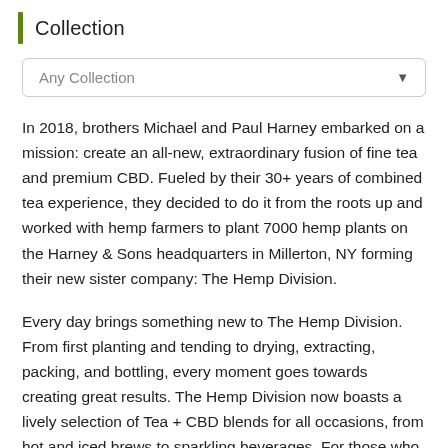Collection
Any Collection
In 2018, brothers Michael and Paul Harney embarked on a mission: create an all-new, extraordinary fusion of fine tea and premium CBD. Fueled by their 30+ years of combined tea experience, they decided to do it from the roots up and worked with hemp farmers to plant 7000 hemp plants on the Harney & Sons headquarters in Millerton, NY forming their new sister company: The Hemp Division.
Every day brings something new to The Hemp Division. From first planting and tending to drying, extracting, packing, and bottling, every moment goes towards creating great results. The Hemp Division now boasts a lively selection of Tea + CBD blends for all occasions, from hot and iced brews to sparkling beverages. For those who prefer to enjoy THD's high-quality CBD in other ways,